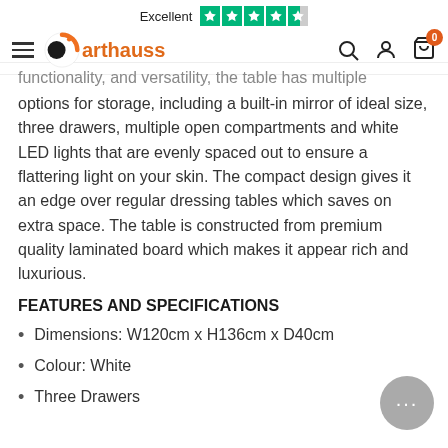Excellent [Trustpilot 4.5 stars] arthauss
functionality, and versatility, the table has multiple options for storage, including a built-in mirror of ideal size, three drawers, multiple open compartments and white LED lights that are evenly spaced out to ensure a flattering light on your skin. The compact design gives it an edge over regular dressing tables which saves on extra space. The table is constructed from premium quality laminated board which makes it appear rich and luxurious.
FEATURES AND SPECIFICATIONS
Dimensions: W120cm x H136cm x D40cm
Colour: White
Three Drawers